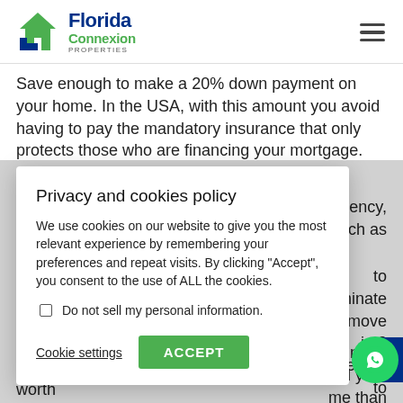Florida Connexion Properties
Save enough to make a 20% down payment on your home. In the USA, with this amount you avoid having to pay the mandatory insurance that only protects those who are financing your mortgage.
Privacy and cookies policy
We use cookies on our website to give you the most relevant experience by remembering your preferences and repeat visits. By clicking "Accept", you consent to the use of ALL the cookies.
Do not sell my personal information.
Cookie settings  ACCEPT
...ency, such as
...to eliminate ...ve to move in 2 ...ouse due to ...use.
...ay intere... ...nd your... ...me than... worth